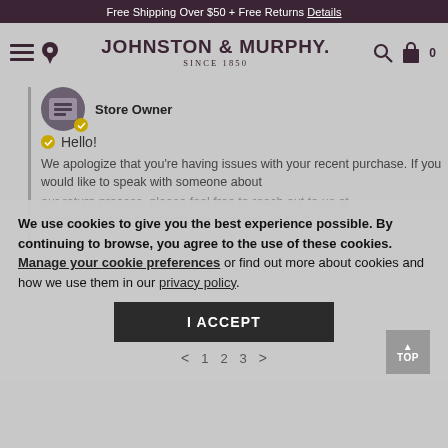Free Shipping Over $50 + Free Returns Details
[Figure (screenshot): Johnston & Murphy website navigation bar with hamburger menu, location pin, logo, search icon, and shopping bag with 0 items]
Store Owner
Hello!
We apologize that you're having issues with your recent purchase. If you would like to speak with someone about our return process, please feel free to reach out to us at JohnstonMurphy@JohnstonMurphy.com (800) 424-2854.
11/04/19
We use cookies to give you the best experience possible. By continuing to browse, you agree to the use of these cookies. Manage your cookie preferences or find out more about cookies and how we use them in our privacy policy.
I ACCEPT
< 1 2 3 >